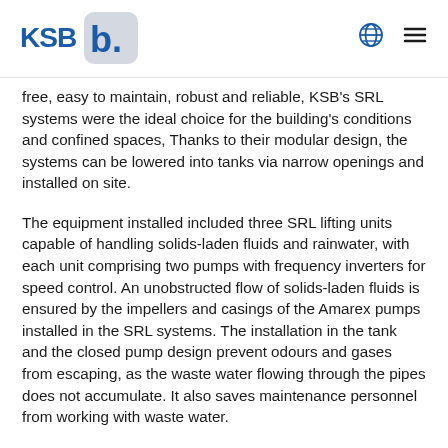KSB logo and navigation
free, easy to maintain, robust and reliable, KSB’s SRL systems were the ideal choice for the building’s conditions and confined spaces, Thanks to their modular design, the systems can be lowered into tanks via narrow openings and installed on site.
The equipment installed included three SRL lifting units capable of handling solids-laden fluids and rainwater, with each unit comprising two pumps with frequency inverters for speed control. An unobstructed flow of solids-laden fluids is ensured by the impellers and casings of the Amarex pumps installed in the SRL systems. The installation in the tank and the closed pump design prevent odours and gases from escaping, as the waste water flowing through the pipes does not accumulate. It also saves maintenance personnel from working with waste water.